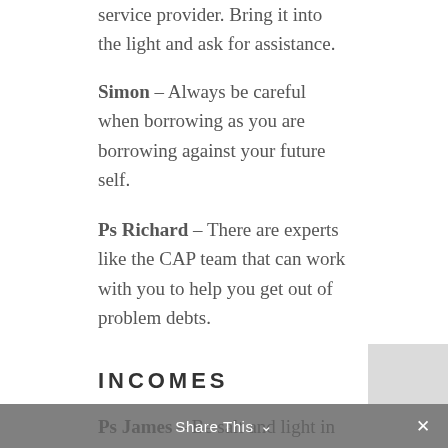service provider. Bring it into the light and ask for assistance.
Simon – Always be careful when borrowing as you are borrowing against your future self.
Ps Richard – There are experts like the CAP team that can work with you to help you get out of problem debts.
INCOMES
Ps James – Be salt and light in your workplace. Be diligent and work hard and make yourself more valuable to your employers. Trust God to move in the world of your salary and wages as you honour Him there.
Share This